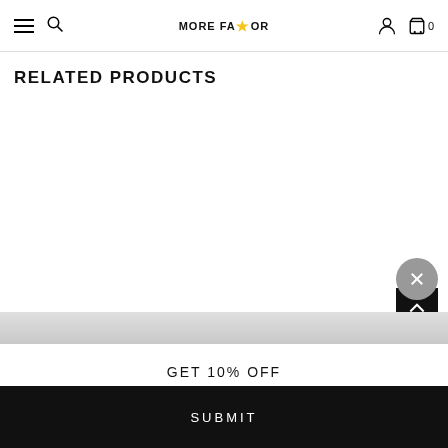MORE FAVOR — navigation header with hamburger menu, search, user icon, cart (0)
RELATED PRODUCTS
[Figure (screenshot): Empty white product listing area with a black back-to-top arrow button on the right side]
[Figure (screenshot): Gray overlay bar with a circular gray X/close button on the right]
GET 10% OFF
SUBMIT